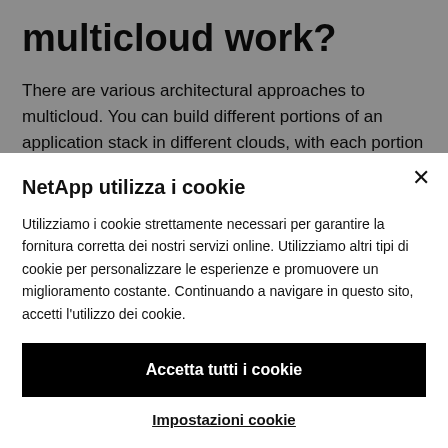multicloud work?
There are various architectural approaches to multicloud. You can build different portions of an application stack in different clouds, with each portion accessing different systems and services that are required to work together. The intelligence in such scenarios is often built in to the application
NetApp utilizza i cookie
Utilizziamo i cookie strettamente necessari per garantire la fornitura corretta dei nostri servizi online. Utilizziamo altri tipi di cookie per personalizzare le esperienze e promuovere un miglioramento costante. Continuando a navigare in questo sito, accetti l'utilizzo dei cookie.
Accetta tutti i cookie
Impostazioni cookie